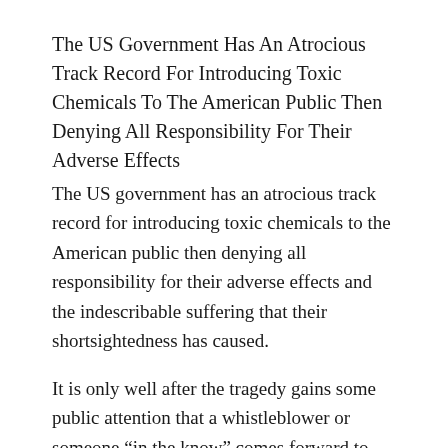The US Government Has An Atrocious Track Record For Introducing Toxic Chemicals To The American Public Then Denying All Responsibility For Their Adverse Effects
The US government has an atrocious track record for introducing toxic chemicals to the American public then denying all responsibility for their adverse effects and the indescribable suffering that their shortsightedness has caused.
It is only well after the tragedy gains some public attention that a whistleblower or someone “in the know” comes forward to reveal the wrongdoings and corruption behind the companies developing these toxic products.